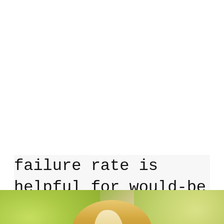failure rate is helpful for would-be salon entrepreneurs.
[Figure (photo): Photo of a blonde woman outdoors with green foliage in the background, cropped showing top of head and face.]